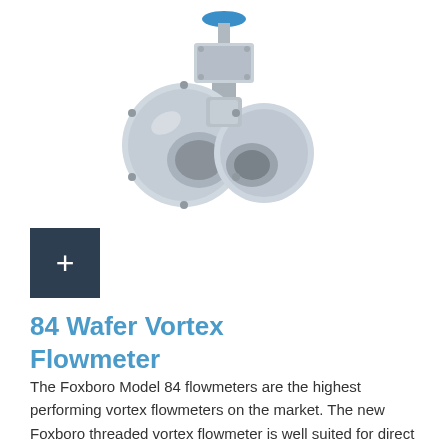[Figure (photo): Photo of the Foxboro Model 84 Wafer Vortex Flowmeter — a stainless steel wafer-style vortex flowmeter with a round disc body and a top-mounted transmitter housing with a blue cap.]
+
84 Wafer Vortex Flowmeter
The Foxboro Model 84 flowmeters are the highest performing vortex flowmeters on the market. The new Foxboro threaded vortex flowmeter is well suited for direct replacement of turbine, magnetic flow and orifice meters.